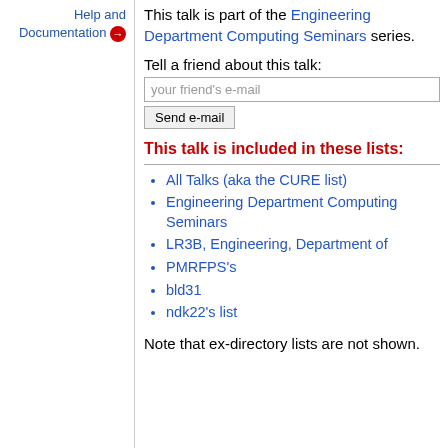Help and Documentation →
This talk is part of the Engineering Department Computing Seminars series.
Tell a friend about this talk:
your friend's e-mail
Send e-mail
This talk is included in these lists:
All Talks (aka the CURE list)
Engineering Department Computing Seminars
LR3B, Engineering, Department of
PMRFPS's
bld31
ndk22's list
Note that ex-directory lists are not shown.